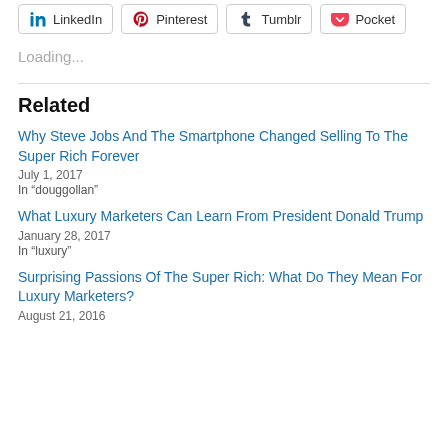[Figure (other): Social sharing buttons row: LinkedIn, Pinterest, Tumblr, Pocket]
Loading...
Related
Why Steve Jobs And The Smartphone Changed Selling To The Super Rich Forever
July 1, 2017
In “douggollan”
What Luxury Marketers Can Learn From President Donald Trump
January 28, 2017
In “luxury”
Surprising Passions Of The Super Rich: What Do They Mean For Luxury Marketers?
August 21, 2016